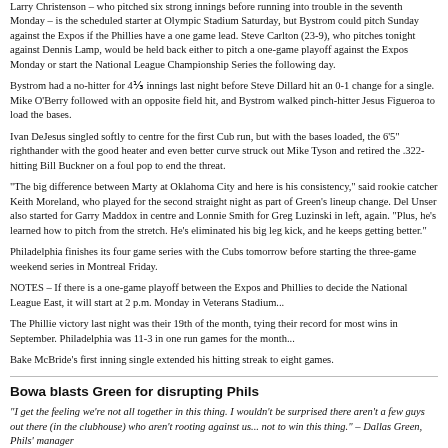Larry Christenson – who pitched six strong innings before running into trouble in the seventh Monday – is the scheduled starter at Olympic Stadium Saturday, but Bystrom could pitch Sunday against the Expos if the Phillies have a one game lead. Steve Carlton (23-9), who pitches tonight against Dennis Lamp, would be held back either to pitch a one-game playoff against the Expos Monday or start the National League Championship Series the following day.
Bystrom had a no-hitter for 4⅓ innings last night before Steve Dillard hit an 0-1 change for a single. Mike O'Berry followed with an opposite field hit, and Bystrom walked pinch-hitter Jesus Figueroa to load the bases.
Ivan DeJesus singled softly to centre for the first Cub run, but with the bases loaded, the 6'5" righthander with the good heater and even better curve struck out Mike Tyson and retired the .322-hitting Bill Buckner on a foul pop to end the threat.
"The big difference between Marty at Oklahoma City and here is his consistency," said rookie catcher Keith Moreland, who played for the second straight night as part of Green's lineup change. Del Unser also started for Garry Maddox in centre and Lonnie Smith for Greg Luzinski in left, again. "Plus, he's learned how to pitch from the stretch. He's eliminated his big leg kick, and he keeps getting better."
Philadelphia finishes its four game series with the Cubs tomorrow before starting the three-game weekend series in Montreal Friday.
NOTES – If there is a one-game playoff between the Expos and Phillies to decide the National League East, it will start at 2 p.m. Monday in Veterans Stadium...
The Phillie victory last night was their 19th of the month, tying their record for most wins in September. Philadelphia was 11-3 in one run games for the month...
Bake McBride's first inning single extended his hitting streak to eight games.
Bowa blasts Green for disrupting Phils
"I get the feeling we're not all together in this thing. I wouldn't be surprised there aren't a few guys out there (in the clubhouse) who aren't rooting against us... not to win this thing." – Dallas Green, Phils' manager